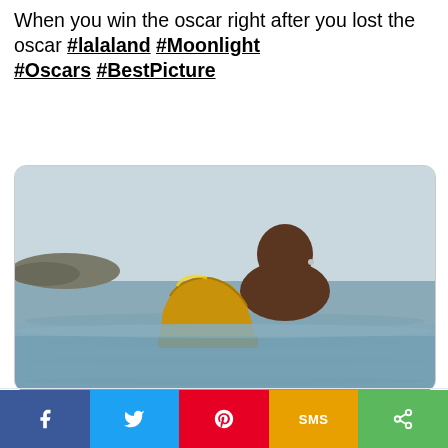When you win the oscar right after you lost the oscar #lalaland #Moonlight #Oscars #BestPicture
[Figure (photo): A man standing in the ocean water holding a large golden Oscar statuette, with a rocky shoreline in the background.]
5:30 AM · Feb 27, 2017
2K   Reply   Copy link
f   t   (pinterest)   SMS   <